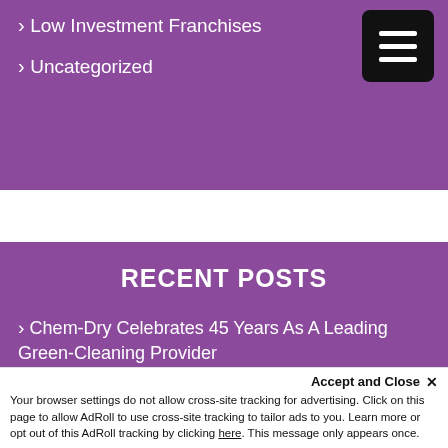Low Investment Franchises
Uncategorized
RECENT POSTS
Chem-Dry Celebrates 45 Years As A Leading Green-Cleaning Provider
Chem-Dry's Long History Is A Game-Changer For New Franchise Owners
How Chem-Dry Came To the Glob...
Accept and Close ✕ Your browser settings do not allow cross-site tracking for advertising. Click on this page to allow AdRoll to use cross-site tracking to tailor ads to you. Learn more or opt out of this AdRoll tracking by clicking here. This message only appears once.